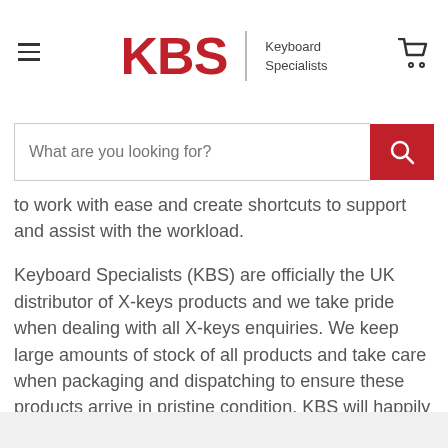[Figure (logo): KBS Keyboard Specialists logo with hamburger menu on left and cart icon on right]
[Figure (screenshot): Search bar with placeholder text 'What are you looking for?' and red search button]
to work with ease and create shortcuts to support and assist with the workload.
Keyboard Specialists (KBS) are officially the UK distributor of X-keys products and we take pride when dealing with all X-keys enquiries. We keep large amounts of stock of all products and take care when packaging and dispatching to ensure these products arrive in pristine condition. KBS will happily work on any custom X-keys projects and supports you through the entire ordering process, working quickly and efficiently on any enquiry. Even after-purchase support is available if you need any help with installing or setting up your X-keys.